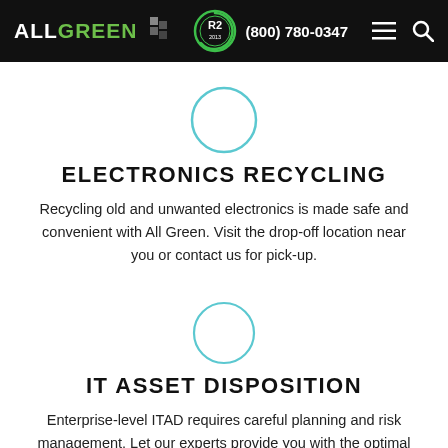ALL GREEN (800) 780-0347
[Figure (illustration): Blue circle outline icon for Electronics Recycling section]
ELECTRONICS RECYCLING
Recycling old and unwanted electronics is made safe and convenient with All Green. Visit the drop-off location near you or contact us for pick-up.
[Figure (illustration): Blue circle outline icon for IT Asset Disposition section]
IT ASSET DISPOSITION
Enterprise-level ITAD requires careful planning and risk management. Let our experts provide you with the optimal